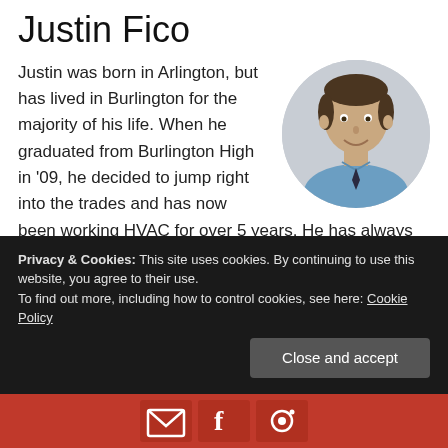Justin Fico
[Figure (photo): Circular headshot photo of Justin Fico, a young man in a blue shirt, smiling, against a light gray background.]
Justin was born in Arlington, but has lived in Burlington for the majority of his life. When he graduated from Burlington High in '09, he decided to jump right into the trades and has now been working HVAC for over 5 years. He has always shown great leadership qualities whether it be at work, in school, or on the playing field. [Read More...]
Privacy & Cookies: This site uses cookies. By continuing to use this website, you agree to their use.
To find out more, including how to control cookies, see here: Cookie Policy
Close and accept